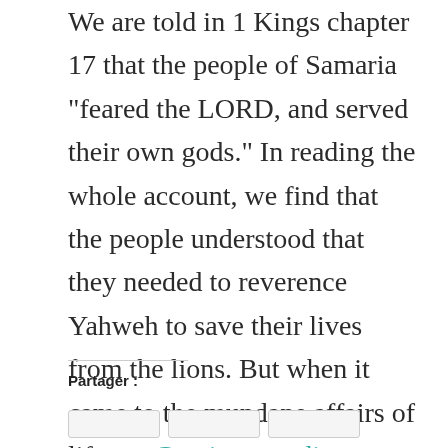We are told in 1 Kings chapter 17 that the people of Samaria "feared the LORD, and served their own gods." In reading the whole account, we find that the people understood that they needed to reverence Yahweh to save their lives from the lions. But when it came to the mundane affairs of life, ... Continue reading
Partager :